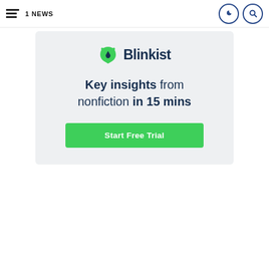1NEWS
[Figure (illustration): Blinkist advertisement banner with logo, tagline 'Key insights from nonfiction in 15 mins', and 'Start Free Trial' button on a light grey background]